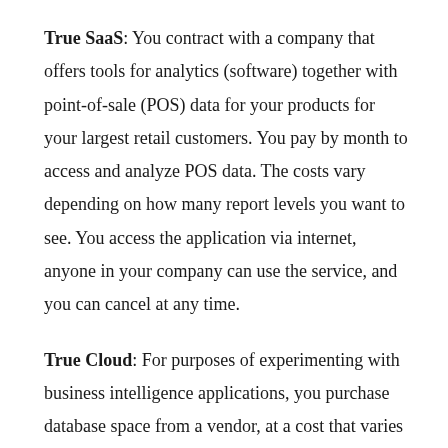True SaaS: You contract with a company that offers tools for analytics (software) together with point-of-sale (POS) data for your products for your largest retail customers. You pay by month to access and analyze POS data. The costs vary depending on how many report levels you want to see. You access the application via internet, anyone in your company can use the service, and you can cancel at any time.
True Cloud: For purposes of experimenting with business intelligence applications, you purchase database space from a vendor, at a cost that varies depending on how much space you use. You can scale up or down in terms of the storage you need. You can